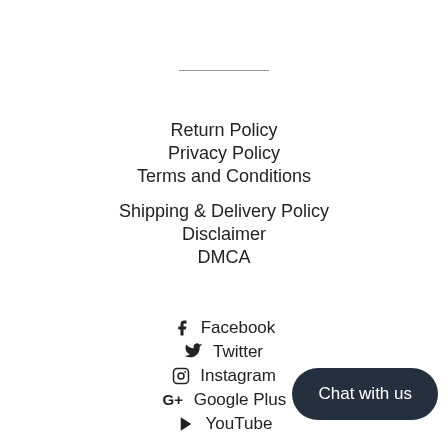Return Policy
Privacy Policy
Terms and Conditions
Shipping & Delivery Policy
Disclaimer
DMCA
Facebook
Twitter
Instagram
Google Plus
YouTube
Chat with us